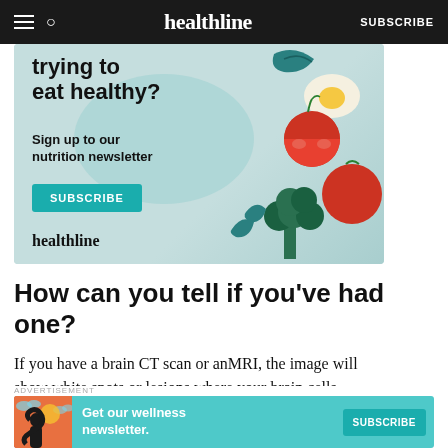healthline | SUBSCRIBE
[Figure (illustration): Healthline advertisement banner: 'trying to eat healthy? Sign up to our nutrition newsletter. SUBSCRIBE. healthline.' with illustrated vegetables (tomatoes, broccoli, egg, salad leaves) on teal background.]
How can you tell if you've had one?
If you have a brain CT scan or anMRI, the image will show white spots or lesions where your brain cells
[Figure (infographic): Bottom advertisement bar: 'Get our wellness newsletter. SUBSCRIBE' on teal background with illustrated woman and clouds.]